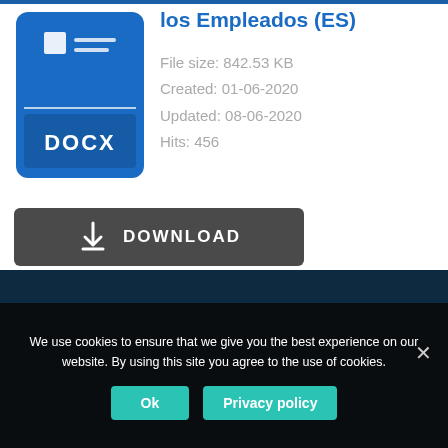[Figure (illustration): DOCX file type icon — blue rounded rectangle with document lines and 'DOCX' label at bottom]
los Empleados (ES)
File size: 842.53 KB
Created: 01-06-2020
Updated: 08-06-2020
Hits: 456
[Figure (other): Download button with down-arrow icon and text 'DOWNLOAD']
We use cookies to ensure that we give you the best experience on our website. By using this site you agree to the use of cookies.